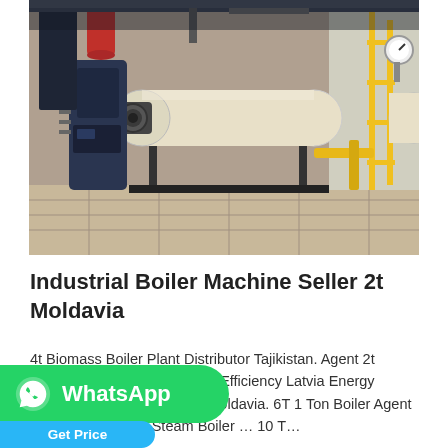[Figure (photo): Industrial boiler machines in a facility — large cylindrical boiler tank (cream/white colored), dark blue burner units with piping, yellow scaffolding/railings, red tank in background, gauges and valves visible.]
Industrial Boiler Machine Seller 2t Moldavia
4t Biomass Boiler Plant Distributor Tajikistan. Agent 2t High Efficiency Latvia Energy Saving Fired Boiler Moldavia. 6T 1 Ton Boiler Agent Fuel Consumption Steam Boiler … 10 T…